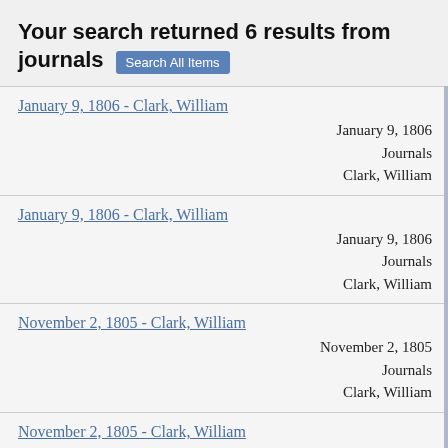Your search returned 6 results from journals
January 9, 1806 - Clark, William
January 9, 1806
Journals
Clark, William
January 9, 1806 - Clark, William
January 9, 1806
Journals
Clark, William
November 2, 1805 - Clark, William
November 2, 1805
Journals
Clark, William
November 2, 1805 - Clark, William